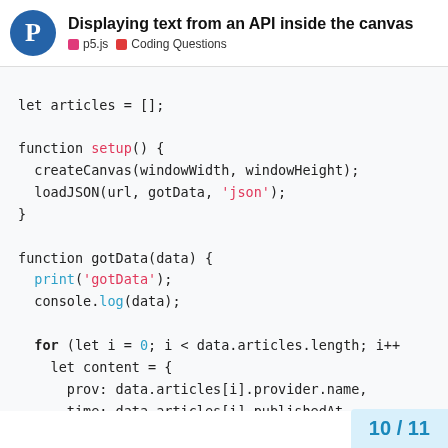Displaying text from an API inside the canvas | p5.js | Coding Questions
[Figure (screenshot): Code snippet showing JavaScript code with let articles = [], setup function with createCanvas and loadJSON calls, and gotData function with print, console.log, and a for loop iterating over data.articles]
10 / 11